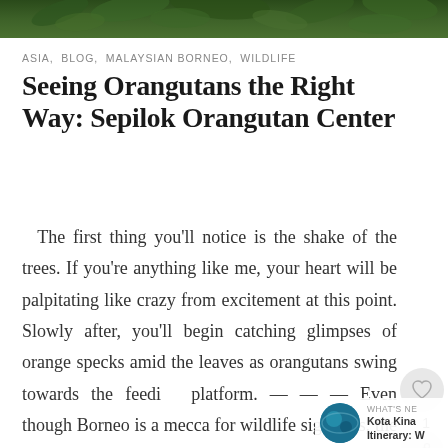[Figure (photo): Partial view of tree canopy with green foliage, cropped at top of page]
ASIA, BLOG, MALAYSIAN BORNEO, WILDLIFE
Seeing Orangutans the Right Way: Sepilok Orangutan Center
The first thing you'll notice is the shake of the trees. If you're anything like me, your heart will be palpitating like crazy from excitement at this point. Slowly after, you'll begin catching glimpses of orange specks amid the leaves as orangutans swing towards the feeding platform. --- Even though Borneo is a mecca for wildlife sightings, the stars of
[Figure (screenshot): WHAT'S NEXT overlay with circular thumbnail image and text 'Kota Kinab... Itinerary: W...']